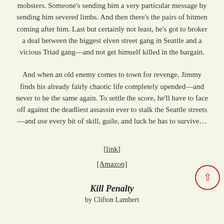mobsters. Someone's sending him a very particular message by sending him severed limbs. And then there's the pairs of hitmen coming after him. Last but certainly not least, he's got to broker a deal between the biggest elven street gang in Seattle and a vicious Triad gang—and not get himself killed in the bargain.
And when an old enemy comes to town for revenge, Jimmy finds his already fairly chaotic life completely upended—and never to be the same again. To settle the score, he'll have to face off against the deadliest assassin ever to stalk the Seattle streets—and use every bit of skill, guile, and luck he has to survive…
[link]
[Amazon]
Kill Penalty
by Clifton Lambert